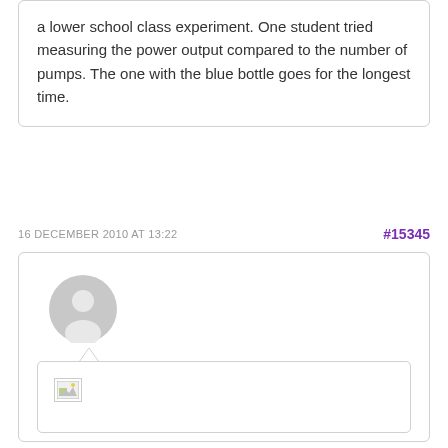a lower school class experiment. One student tried measuring the power output compared to the number of pumps. The one with the blue bottle goes for the longest time.
16 DECEMBER 2010 AT 13:22
#15345
[Figure (illustration): User avatar placeholder icon (grey silhouette of a person) inside a comment box with a broken image thumbnail at the bottom]